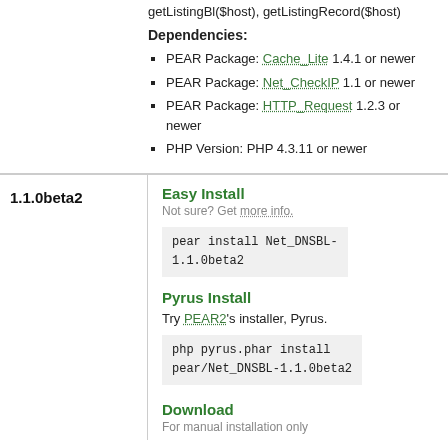getListingBl($host), getListingRecord($host)
Dependencies:
PEAR Package: Cache_Lite 1.4.1 or newer
PEAR Package: Net_CheckIP 1.1 or newer
PEAR Package: HTTP_Request 1.2.3 or newer
PHP Version: PHP 4.3.11 or newer
1.1.0beta2
Easy Install
Not sure? Get more info.
pear install Net_DNSBL-1.1.0beta2
Pyrus Install
Try PEAR2's installer, Pyrus.
php pyrus.phar install pear/Net_DNSBL-1.1.0beta2
Download
For manual installation only